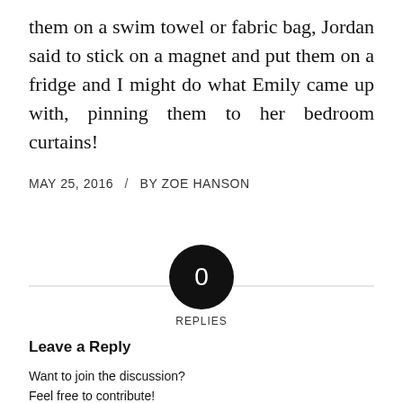them on a swim towel or fabric bag, Jordan said to stick on a magnet and put them on a fridge and I might do what Emily came up with, pinning them to her bedroom curtains!
MAY 25, 2016 / BY ZOE HANSON
[Figure (infographic): Black circle badge with white '0' in center; 'REPLIES' label below; horizontal grey rule on either side]
Leave a Reply
Want to join the discussion?
Feel free to contribute!